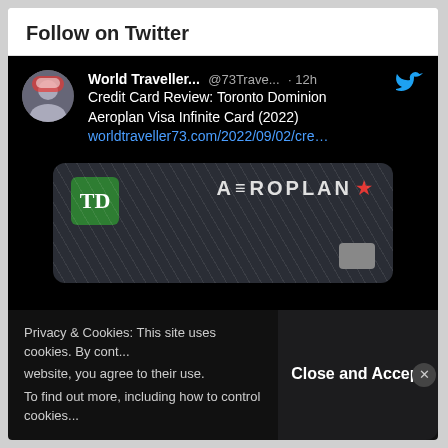Follow on Twitter
[Figure (screenshot): Tweet from @73Trave... (World Traveller...) 12h ago: 'Credit Card Review: Toronto Dominion Aeroplan Visa Infinite Card (2022)' with link worldtraveller73.com/2022/09/02/cre... and image of TD Aeroplan Visa Infinite credit card (dark background, TD bank logo in green square, AEROPLAN text with maple leaf star logo)]
Privacy & Cookies: This site uses cookies. By cont... website, you agree to their use. To find out more, including how to control cookies...
Close and Accept